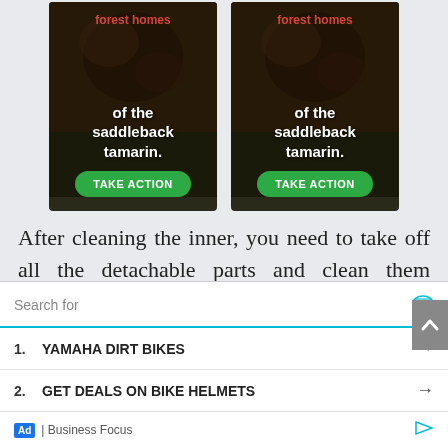[Figure (illustration): Two advertisement banners side by side showing 'of the saddleback tamarin.' text with a 'TAKE ACTION' green button, on a dark wildlife photo background]
After cleaning the inner, you need to take off all the detachable parts and clean them separately using mild detergent. And in the same way, you can also
[Figure (screenshot): Search overlay with search bar, two items: 1. YAMAHA DIRT BIKES (arrow), 2. GET DEALS ON BIKE HELMETS (arrow), and Ad | Business Focus footer]